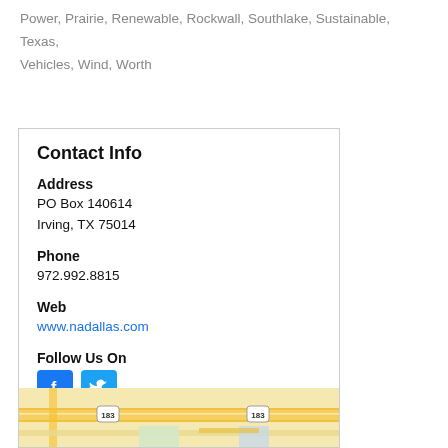Power, Prairie, Renewable, Rockwall, Southlake, Sustainable, Texas, Vehicles, Wind, Worth
Contact Info
Address
PO Box 140614
Irving, TX 75014
Phone
972.992.8815
Web
www.nadallas.com
Follow Us On
[Figure (illustration): Facebook and Twitter social media icons]
[Figure (map): Map preview showing highway 183 area]